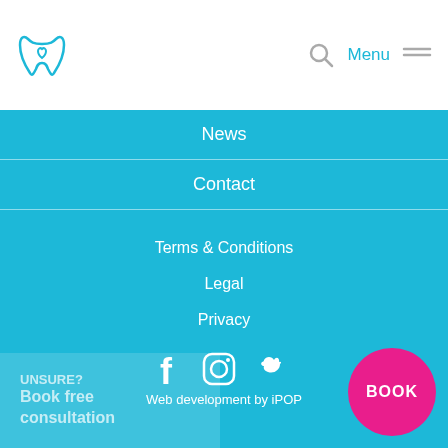[Figure (logo): Teal tooth with heart logo]
Menu
News
Contact
Terms & Conditions
Legal
Privacy
[Figure (illustration): Social media icons: Facebook, Instagram, Twitter]
Web development by iPOP
UNSURE?
Book free consultation
[Figure (other): Pink circular BOOK button]